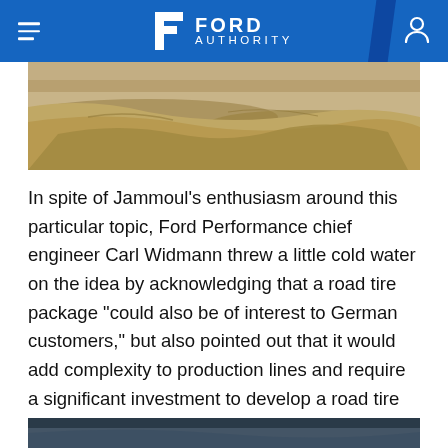Ford Authority
[Figure (photo): Outdoor sandy/dirt terrain photo showing rocky desert landscape, top image]
In spite of Jammoul's enthusiasm around this particular topic, Ford Performance chief engineer Carl Widmann threw a little cold water on the idea by acknowledging that a road tire package “could also be of interest to German customers,” but also pointed out that it would add complexity to production lines and require a significant investment to develop a road tire suitable for the Ranger Raptor. Since no such thing currently exists, it could take upwards of 2-3 years to make one, in fact.
[Figure (photo): Bottom partial photo strip, dark blue/grey tones, outdoor vehicle scene]